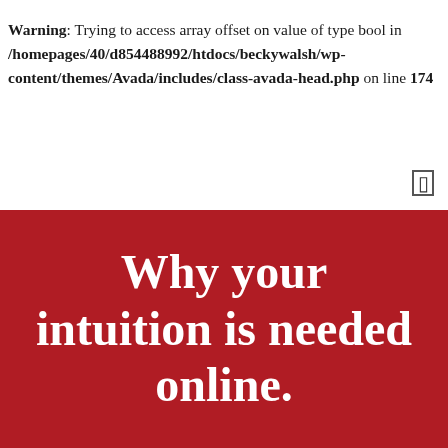Warning: Trying to access array offset on value of type bool in /homepages/40/d854488992/htdocs/beckywalsh/wp-content/themes/Avada/includes/class-avada-head.php on line 174
Why your intuition is needed online.